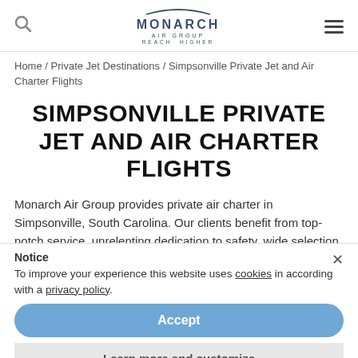MONARCH AIR GROUP · REACH HIGHER
Home / Private Jet Destinations / Simpsonville Private Jet and Air Charter Flights
SIMPSONVILLE PRIVATE JET AND AIR CHARTER FLIGHTS
Monarch Air Group provides private air charter in Simpsonville, South Carolina. Our clients benefit from top-notch service, unrelenting dedication to safety, wide selection of aircraft, and years of experience in chartering private jets. To obtain a free quote, please use our online quoting tool provided below, or call toll-free 1-877-281-3051.
Notice
To improve your experience this website uses cookies in according with a privacy policy.
Accept
Learn more and customize
Call us: + 1 (954) 359 0059